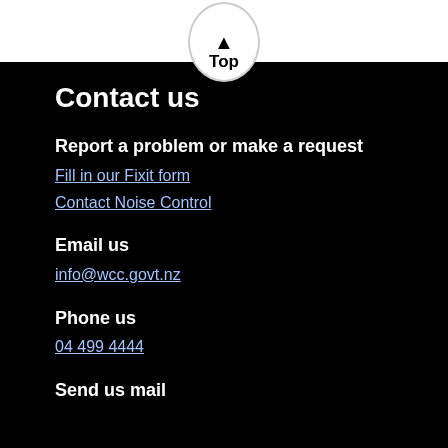[Figure (other): Top navigation button — white circle with upward arrow and label 'Top' on a white header bar]
Contact us
Report a problem or make a request
Fill in our Fixit form
Contact Noise Control
Email us
info@wcc.govt.nz
Phone us
04 499 4444
Send us mail